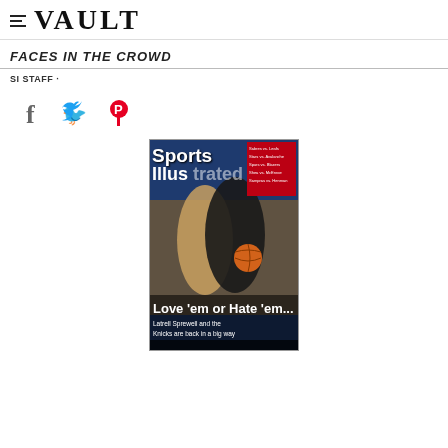≡ VAULT
FACES IN THE CROWD
SI STAFF ·
[Figure (illustration): Social media share icons: Facebook (f), Twitter (bird), Pinterest (P)]
[Figure (photo): Sports Illustrated magazine cover showing Latrell Sprewell and the New York Knicks. Headline reads 'Love 'em or Hate 'em... Latrell Sprewell and the Knicks are back in a big way'. Red box in top right corner lists matchups. The SI logo is prominent at the top.]